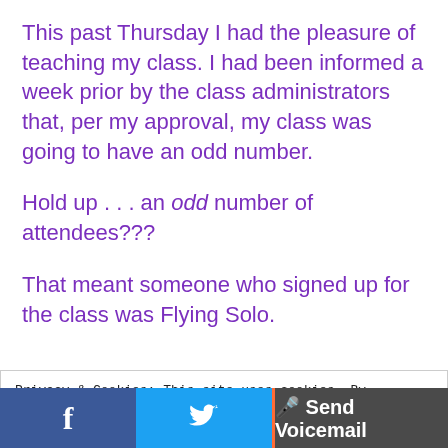This past Thursday I had the pleasure of teaching my class. I had been informed a week prior by the class administrators that, per my approval, my class was going to have an odd number.
Hold up . . . an odd number of attendees???
That meant someone who signed up for the class was Flying Solo.
Privacy & Cookies: This site uses cookies. By continuing to use this website, you agree to their use.
To find out more, including how to control cookies, see here: Cookie Policy
f  [Twitter bird icon]  🎤 Send Voicemail